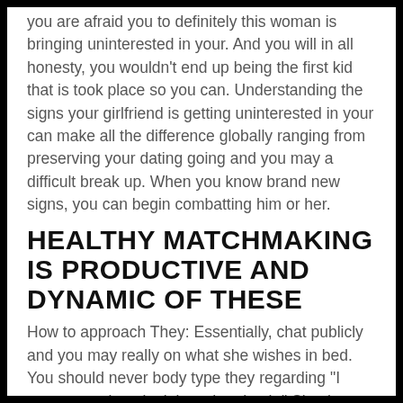you are afraid you to definitely this woman is bringing uninterested in your. And you will in all honesty, you wouldn't end up being the first kid that is took place so you can. Understanding the signs your girlfriend is getting uninterested in your can make all the difference globally ranging from preserving your dating going and you may a difficult break up. When you know brand new signs, you can begin combatting him or her.
HEALTHY MATCHMAKING IS PRODUCTIVE AND DYNAMIC OF THESE
How to approach They: Essentially, chat publicly and you may really on what she wishes in bed. You should never body type they regarding "I seen you take a look bored to death." Simply allow it to be about thinking exactly what she is on the.